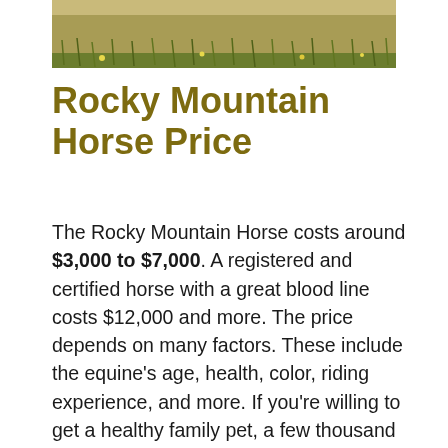[Figure (photo): Top portion of a grassy field/lawn photo, cropped at the bottom, showing green and brown grass with some small yellow flowers.]
Rocky Mountain Horse Price
The Rocky Mountain Horse costs around $3,000 to $7,000. A registered and certified horse with a great blood line costs $12,000 and more. The price depends on many factors. These include the equine’s age, health, color, riding experience, and more. If you’re willing to get a healthy family pet, a few thousand bucks will be enough.